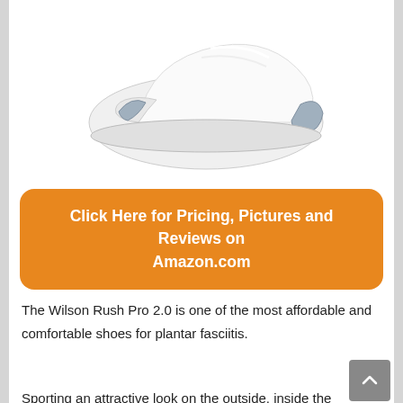[Figure (photo): White Wilson Rush Pro 2.0 tennis shoe photographed from above at an angle, showing the toe and heel with grey accents on a white background.]
Click Here for Pricing, Pictures and Reviews on Amazon.com
The Wilson Rush Pro 2.0 is one of the most affordable and comfortable shoes for plantar fasciitis.
Sporting an attractive look on the outside, inside the shoes are very lightweight with mesh panels for extra breathability.
Though the profile is lower to the ground,